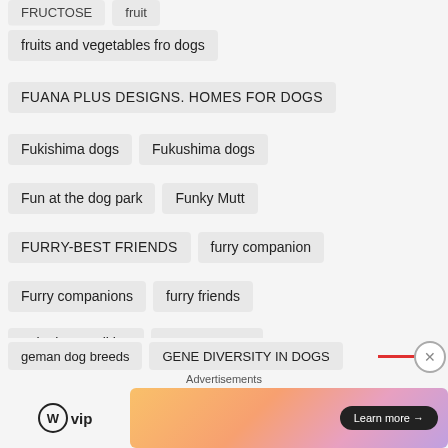FRUCTOSE  fruit
fruits and vegetables fro dogs
FUANA PLUS DESIGNS. HOMES FOR DOGS
Fukishima dogs
Fukushima dogs
Fun at the dog park
Funky Mutt
FURRY-BEST FRIENDS
furry companion
Furry companions
furry friends
gait abnormalities
game rangers
gamma knife treatment
garlic cloves
GARMIN DC 40
gazing and dogs
geman dog breeds
GENE DIVERSITY IN DOGS
Advertisements
[Figure (logo): WordPress VIP logo with circular W icon and 'vip' text]
[Figure (illustration): Advertisement banner with gradient background (orange to pink to purple) and 'Learn more' button]